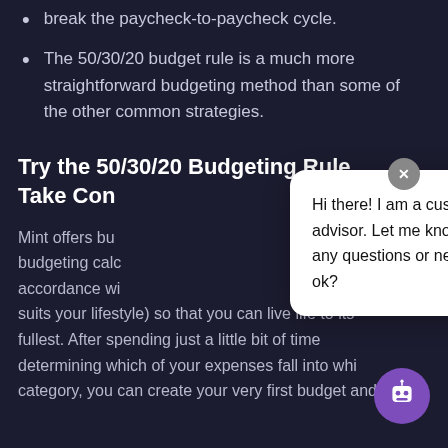break the paycheck-to-paycheck cycle.
The 50/30/20 budget rule is a much more straightforward budgeting method than some of the other common strategies.
Try the 50/30/20 Budgeting Rule Take Con
Mint offers bu budgeting calc accordance wi suits your lifestyle) so that you can live life to its fullest. After spending just a little bit of time determining which of your expenses fall into whi category, you can create your very first budget and
[Figure (screenshot): Chat popup with message: Hi there! I am a customer support advisor. Let me know if you have any questions or need assistance, ok? With a close button (x) and a purple robot chat icon at the bottom right.]